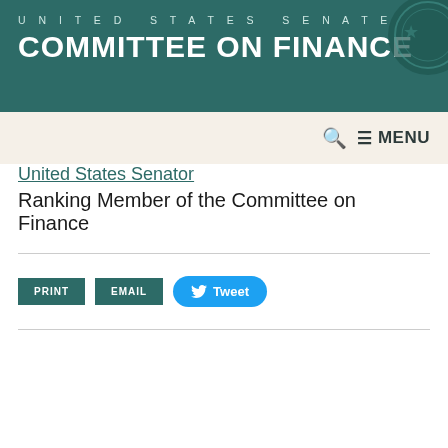UNITED STATES SENATE COMMITTEE ON FINANCE
United States Senator
Ranking Member of the Committee on Finance
PRINT | EMAIL | Tweet